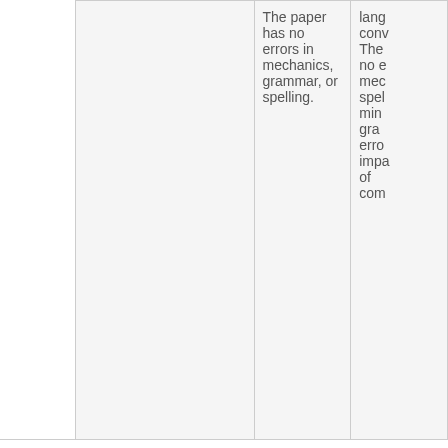|  | Score 4 | Score 3+ |
| --- | --- | --- |
|  | The paper has no errors in mechanics, grammar, or spelling. | lang... conv... The no e mec spel min gra erro impa of com |